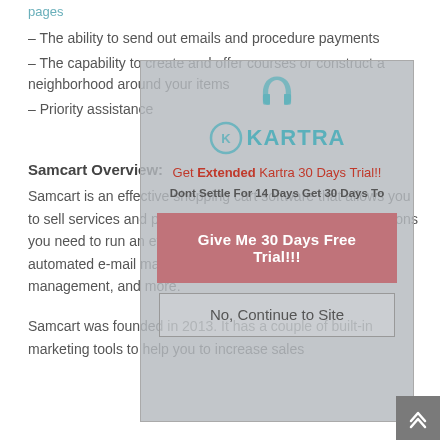pages
– The ability to send out emails and procedure payments
– The capability to create and offer courses or construct a neighborhood around your items
– Priority assistance
[Figure (screenshot): Kartra promotional overlay modal with logo, 'Get Extended Kartra 30 Days Trial!' tagline, 'Dont Settle For 14 Days Get 30 Days To' subtitle, a red 'Give Me 30 Days Free Trial!!!' button, and a 'No, Continue to Site' outlined button. Background is semi-transparent gray overlay on top of page content.]
Samcart Overview:
Samcart is an effective shopping cart software that allows you to sell services and products online. It includes all the functions you need to run an effective online company, such as automated e-mail marketing, one-click upsells, affiliate management, and more.
Samcart was founded in 2013. It has a couple of built-in marketing tools to help you to increase sales